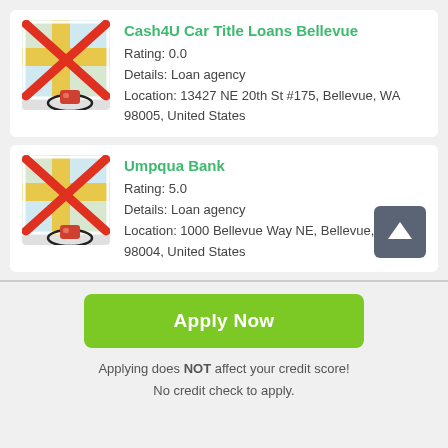Cash4U Car Title Loans Bellevue
Rating: 0.0
Details: Loan agency
Location: 13427 NE 20th St #175, Bellevue, WA 98005, United States
[Figure (illustration): Map icon with red X cross overlay and location pin at bottom]
Umpqua Bank
Rating: 5.0
Details: Loan agency
Location: 1000 Bellevue Way NE, Bellevue, WA 98004, United States
[Figure (illustration): Map icon with red X cross overlay and location pin at bottom]
Apply Now
Applying does NOT affect your credit score!
No credit check to apply.